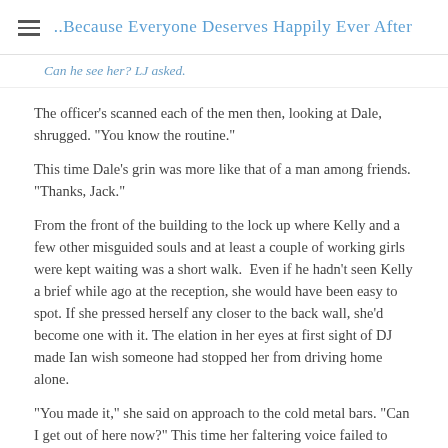..Because Everyone Deserves Happily Ever After
Can he see her? LJ asked.
The officer's scanned each of the men then, looking at Dale, shrugged. "You know the routine."
This time Dale's grin was more like that of a man among friends. "Thanks, Jack."
From the front of the building to the lock up where Kelly and a few other misguided souls and at least a couple of working girls were kept waiting was a short walk.  Even if he hadn't seen Kelly a brief while ago at the reception, she would have been easy to spot. If she pressed herself any closer to the back wall, she'd become one with it. The elation in her eyes at first sight of DJ made Ian wish someone had stopped her from driving home alone.
"You made it," she said on approach to the cold metal bars. "Can I get out of here now?" This time her faltering voice failed to hide the fear.